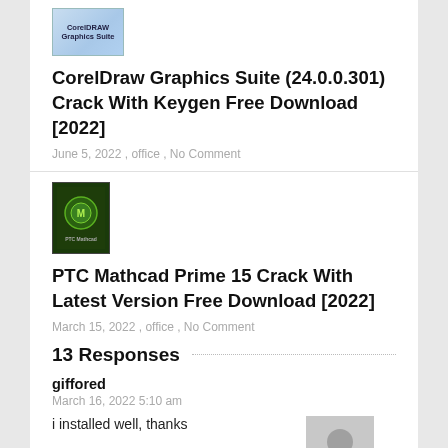[Figure (screenshot): CorelDraw product box thumbnail image]
CorelDraw Graphics Suite (24.0.0.301) Crack With Keygen Free Download [2022]
June 5, 2022 , office , No Comment
[Figure (screenshot): PTC Mathcad Prime 15 software box thumbnail - dark green box]
PTC Mathcad Prime 15 Crack With Latest Version Free Download [2022]
March 15, 2022 , office , No Comment
13 Responses
giffored
March 16, 2022 5:10 am
i installed well, thanks